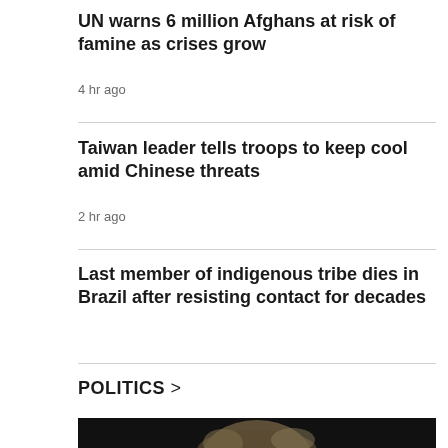UN warns 6 million Afghans at risk of famine as crises grow
4 hr ago
Taiwan leader tells troops to keep cool amid Chinese threats
2 hr ago
Last member of indigenous tribe dies in Brazil after resisting contact for decades
POLITICS >
[Figure (photo): Photo of a person, partially visible at the bottom of the page, dark background]